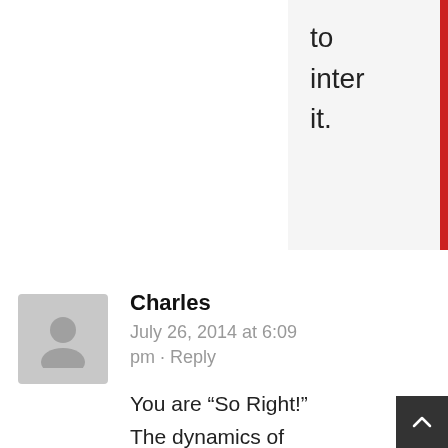to inter it.
[Figure (other): Gray default user avatar icon]
Charles
July 26, 2014 at 6:09 pm · Reply
You are “So Right!” The dynamics of “jealousy” and “hiding” is very Real. My girlfriend and I are deeply involved in this